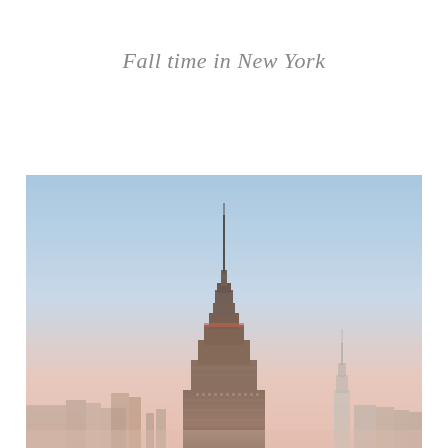Fall time in New York
[Figure (photo): Photograph of the Empire State Building and New York City skyline at dusk/dawn with a soft pastel sky gradient from blue at top to pink/peach at the horizon, with the iconic Empire State Building prominently in the center and other skyscrapers in the background.]